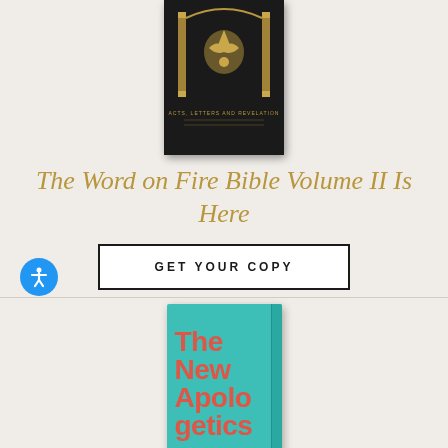[Figure (photo): Word on Fire Bible Volume II book cover, black with gold design showing an eagle or similar religious symbol between pillars]
The Word on Fire Bible Volume II Is Here
GET YOUR COPY
[Figure (photo): The New Apologetics book cover, teal/turquoise background with large red/coral bold text reading 'The New Apologetics']